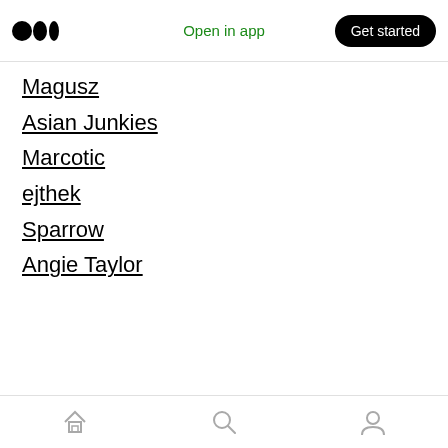Open in app | Get started
Magusz
Asian Junkies
Marcotic
ejthek
Sparrow
Angie Taylor
[Figure (illustration): Cartoon illustration showing three characters: a blue elephant-like creature on left, a skull/smiley face with 'The Graffiti King' logo in center, and a lion wearing a crown on right with a colorful ball]
Home | Search | Profile